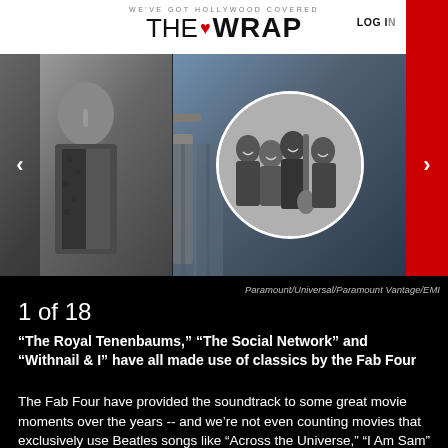WE'VE GOT HOLLYWOOD COVERED | THE WRAP | LOG IN
[Figure (photo): Slideshow photo strip with three panels: left panel shows a performer in leopard print and dark vest, center panel shows a guitarist in plaid with a circular inset of The Beatles (four young men, one holding a guitar), right panel partially visible with colorful clothing. Navigation arrows on left and right sides.]
Paramount/Universal/Paramount Vantage/EMI
1 of 18
“The Royal Tenenbaums,” “The Social Network” and “Withnail & I” have all made use of classics by the Fab Four
The Fab Four have provided the soundtrack to some great movie moments over the years -- and we’re not even counting movies that exclusively use Beatles songs like “Across the Universe,” “I Am Sam” and The